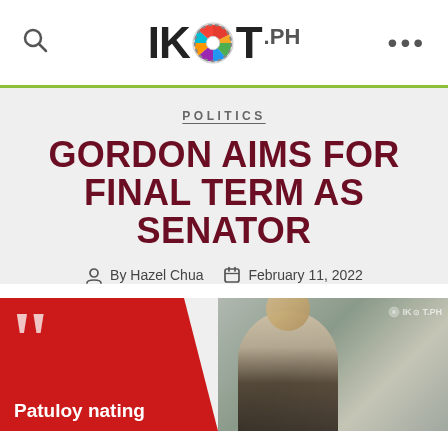IKOT.PH
POLITICS
GORDON AIMS FOR FINAL TERM AS SENATOR
By Hazel Chua   February 11, 2022
[Figure (photo): Red quote card on left with large quotation marks and text 'Patuloy nating', and photo of a man (Gordon) on the right with IKOT.PH watermark]